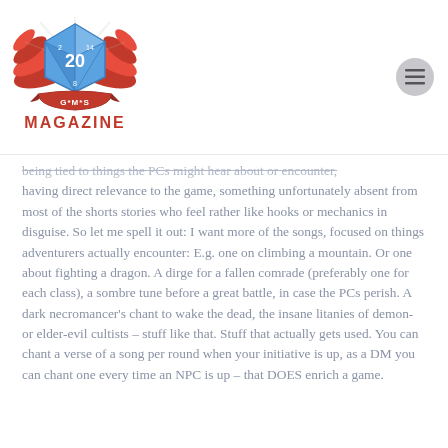GMS Magazine logo and menu button
being tied to things the PCs might hear about or encounter, having direct relevance to the game, something unfortunately absent from most of the shorts stories who feel rather like hooks or mechanics in disguise. So let me spell it out: I want more of the songs, focused on things adventurers actually encounter: E.g. one on climbing a mountain. Or one about fighting a dragon. A dirge for a fallen comrade (preferably one for each class), a sombre tune before a great battle, in case the PCs perish. A dark necromancer's chant to wake the dead, the insane litanies of demon- or elder-evil cultists – stuff like that. Stuff that actually gets used. You can chant a verse of a song per round when your initiative is up, as a DM you can chant one every time an NPC is up – that DOES enrich a game.